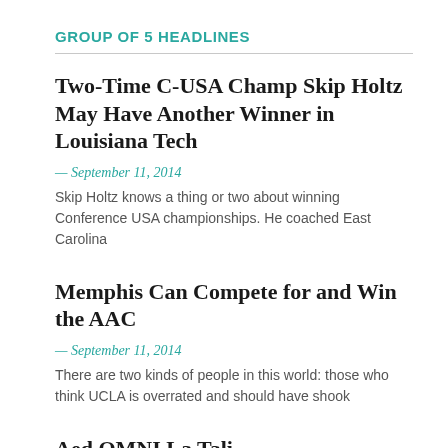GROUP OF 5 HEADLINES
Two-Time C-USA Champ Skip Holtz May Have Another Winner in Louisiana Tech
— September 11, 2014
Skip Holtz knows a thing or two about winning Conference USA championships. He coached East Carolina
Memphis Can Compete for and Win the AAC
— September 11, 2014
There are two kinds of people in this world: those who think UCLA is overrated and should have shook